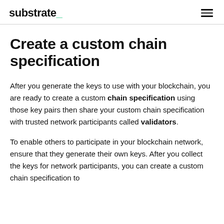substrate_
Create a custom chain specification
After you generate the keys to use with your blockchain, you are ready to create a custom chain specification using those key pairs then share your custom chain specification with trusted network participants called validators.
To enable others to participate in your blockchain network, ensure that they generate their own keys. After you collect the keys for network participants, you can create a custom chain specification to